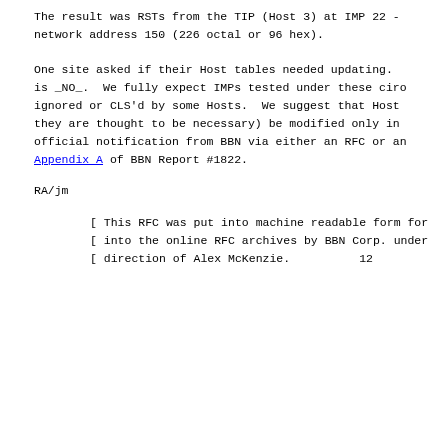The result was RSTs from the TIP (Host 3) at IMP 22 - network address 150 (226 octal or 96 hex).

One site asked if their Host tables needed updating. is _NO_.  We fully expect IMPs tested under these circ ignored or CLS'd by some Hosts.  We suggest that Host they are thought to be necessary) be modified only in official notification from BBN via either an RFC or an Appendix A of BBN Report #1822.
RA/jm
[ This RFC was put into machine readable form for
[ into the online RFC archives by BBN Corp. under
[ direction of Alex McKenzie.          12